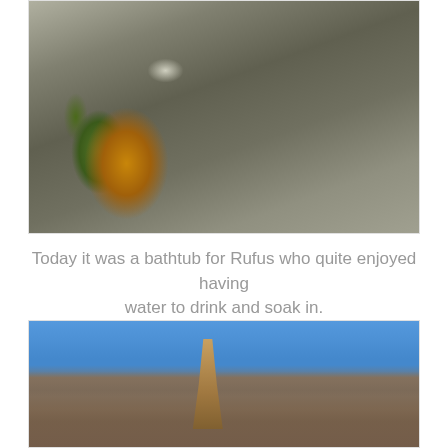[Figure (photo): Close-up photograph of a rocky terrain with orange/rust-colored grass tufts and sparse green vegetation growing in crevices of dark layered rock face.]
Today it was a bathtub for Rufus who quite enjoyed having water to drink and soak in.
[Figure (photo): Photograph of a tall rocky cliff face with blue sky visible in the upper portion and reddish-brown dried plant material visible against the rock.]